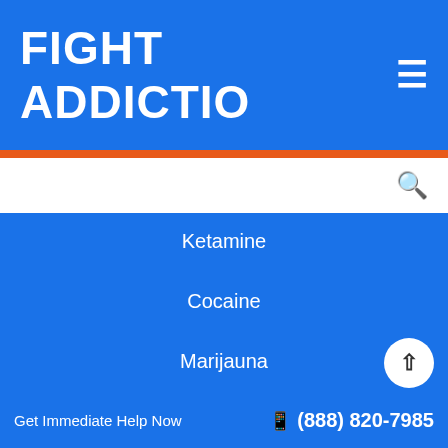FIGHT ADDICTIO ≡
Ketamine
Cocaine
Marijauna
Call us
8888207985
Get Immediate Help Now   (888) 820-7985